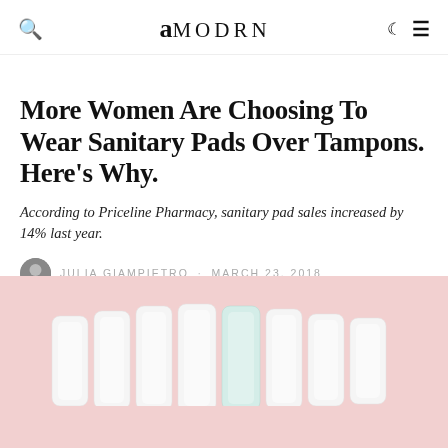amodrn
More Women Are Choosing To Wear Sanitary Pads Over Tampons. Here's Why.
According to Priceline Pharmacy, sanitary pad sales increased by 14% last year.
Julia Giampietro · March 23, 2018
[Figure (photo): Photo of several white sanitary pads standing upright on a pink background]